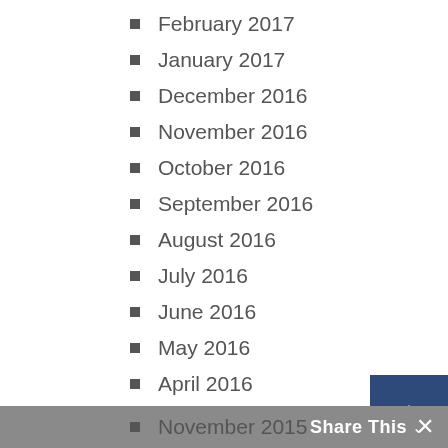February 2017
January 2017
December 2016
November 2016
October 2016
September 2016
August 2016
July 2016
June 2016
May 2016
April 2016
March 2016
February 2016
January 2016
December 2015
November 2015
Share This ∨  ×